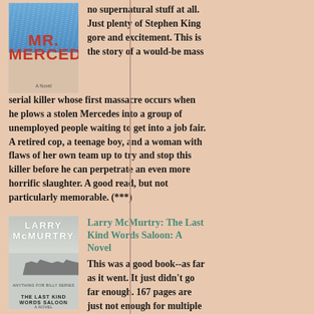no supernatural stuff at all. Just plenty of Stephen King gore and excitement. This is the story of a would-be mass serial killer whose first massacre occurs when he plows a stolen Mercedes into a group of unemployed people waiting to get into a job fair. A retired cop, a teenage boy, and a woman with flaws of her own team up to try and stop this killer before he can perpetrate an even more horrific slaughter. A good read, but not particularly memorable. (***)
[Figure (illustration): Book cover of 'Mr. Mercedes' by Stephen King, showing title text in red against a dark/rainy background]
[Figure (illustration): Book cover of 'The Last Kind Words Saloon' by Larry McMurtry, showing a winter scene with horses and riders]
Larry McMurtry: The Last Kind Words Saloon: A Novel
This was a good book--as far as it went. It just didn't go far enough. 167 pages are just not enough for multiple character